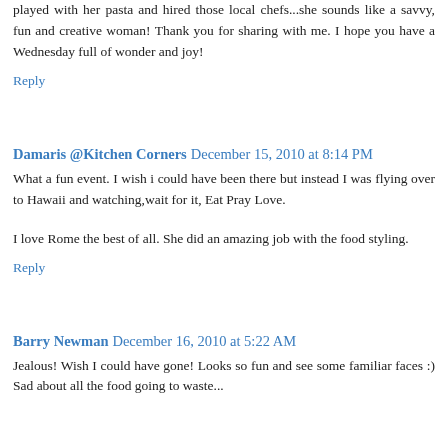played with her pasta and hired those local chefs...she sounds like a savvy, fun and creative woman! Thank you for sharing with me. I hope you have a Wednesday full of wonder and joy!
Reply
Damaris @Kitchen Corners December 15, 2010 at 8:14 PM
What a fun event. I wish i could have been there but instead I was flying over to Hawaii and watching,wait for it, Eat Pray Love.
I love Rome the best of all. She did an amazing job with the food styling.
Reply
Barry Newman December 16, 2010 at 5:22 AM
Jealous! Wish I could have gone! Looks so fun and see some familiar faces :) Sad about all the food going to waste...